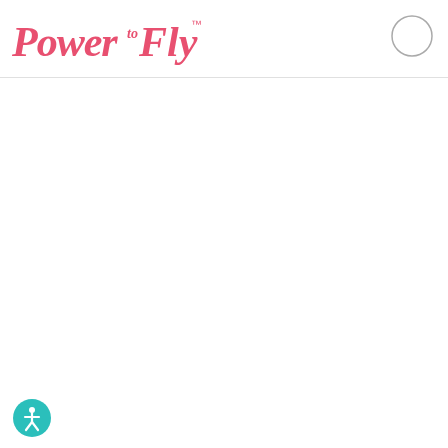PowerToFly™
[Figure (logo): PowerToFly logo in pink cursive script with trademark symbol]
[Figure (other): Empty circle outline button in top right of header]
[Figure (other): Teal accessibility icon (wheelchair/person symbol) in bottom left corner]